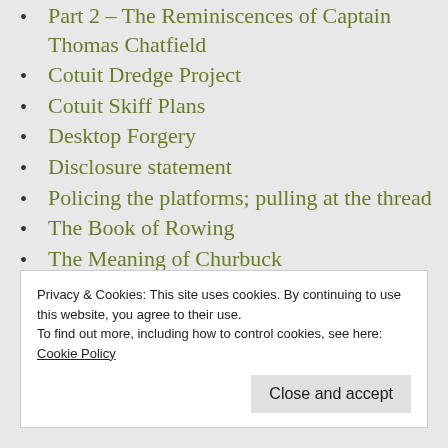Part 2 – The Reminiscences of Captain Thomas Chatfield
Cotuit Dredge Project
Cotuit Skiff Plans
Desktop Forgery
Disclosure statement
Policing the platforms; pulling at the thread
The Book of Rowing
The Meaning of Churbuck
The Shop
The Wreck and War of Bethuel G. Handy
Privacy & Cookies: This site uses cookies. By continuing to use this website, you agree to their use.
To find out more, including how to control cookies, see here: Cookie Policy
Close and accept